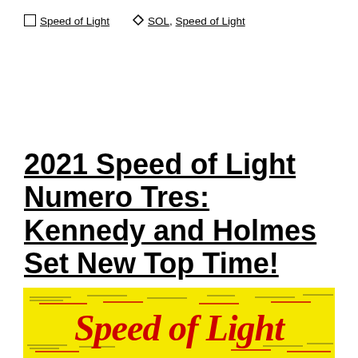Speed of Light  SOL, Speed of Light
2021 Speed of Light Numero Tres: Kennedy and Holmes Set New Top Time!
[Figure (illustration): Speed of Light logo banner: yellow background with red script text 'Speed of Light' and horizontal speed-line decorations in red, green, and dark olive colors.]